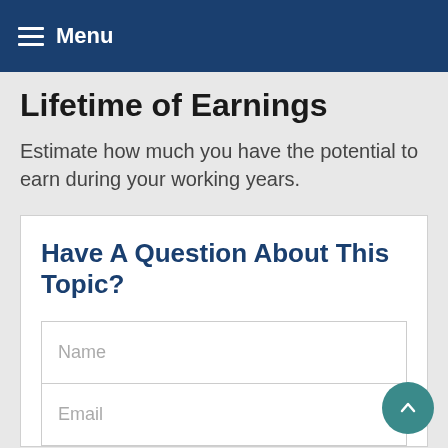Menu
Lifetime of Earnings
Estimate how much you have the potential to earn during your working years.
Have A Question About This Topic?
Name
Email